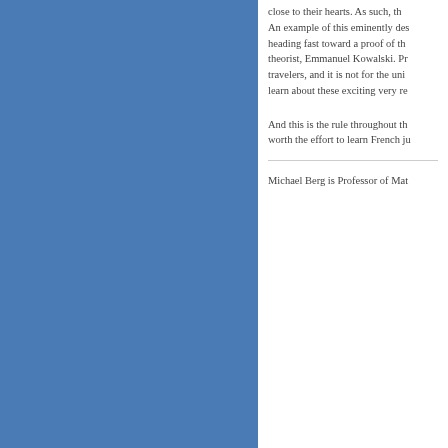close to their hearts. As such, th... An example of this eminently des... heading fast toward a proof of th... theorist, Emmanuel Kowalski. Pr... travelers, and it is not for the uni... learn about these exciting very re...
And this is the rule throughout th... worth the effort to learn French ju...
Michael Berg is Professor of Mat...
Tags: Surveys of M... Log in to post comments
[Figure (screenshot): Social sharing bar with Print button, Facebook, LinkedIn, Twitter, Reddit, Google+ icons on red hatched background]
ABOUT MAA   MEMBERSHIP   MAA PUBLICA...